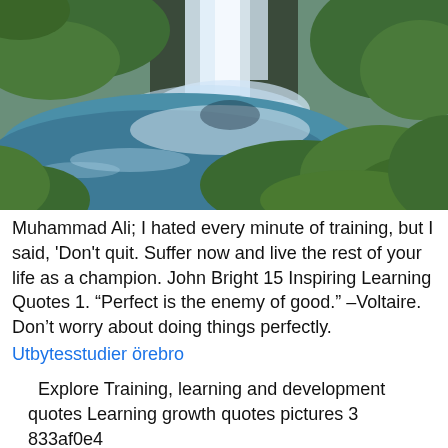[Figure (photo): A scenic waterfall cascading down mossy green rocks into a blue-green pool, shot from close to the base of the falls with mist rising and lush green moss-covered boulders in the foreground.]
Muhammad Ali; I hated every minute of training, but I said, 'Don't quit. Suffer now and live the rest of your life as a champion. John Bright 15 Inspiring Learning Quotes 1. “Perfect is the enemy of good.” –Voltaire. Don’t worry about doing things perfectly.
Utbytesstudier örebro
Explore Training, learning and development quotes Learning growth quotes pictures 3 833af0e4